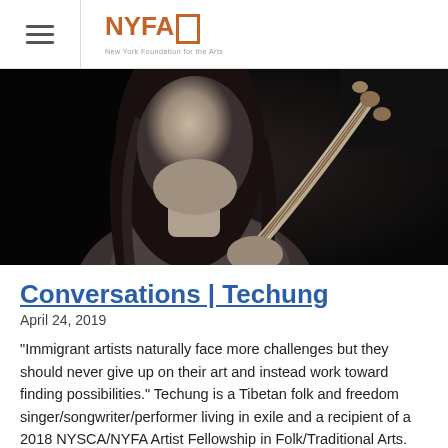NYFA | New York Foundation for the Arts
[Figure (photo): Black and white photograph of Techung, a Tibetan folk and freedom singer, holding a stringed instrument (appears to be a dramnyen or similar traditional instrument). The photo is a close-up showing his face partially and the instrument neck extending upward to the right.]
Conversations | Techung
April 24, 2019
“Immigrant artists naturally face more challenges but they should never give up on their art and instead work toward finding possibilities.” Techung is a Tibetan folk and freedom singer/songwriter/performer living in exile and a recipient of a 2018 NYSCA/NYFA Artist Fellowship in Folk/Traditional Arts. Last year, he was a guest speaker at the NYSCA/NYFA Artist…